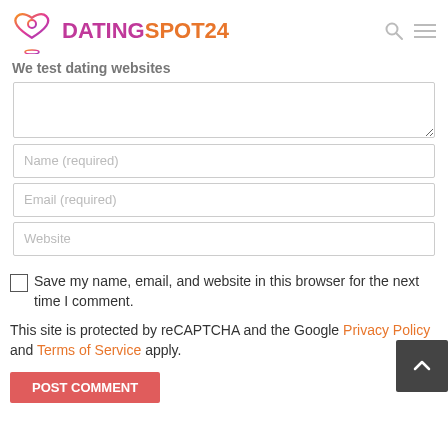[Figure (logo): DatingSpot24 logo with heart/map pin icon, gradient pink-orange colors]
We test dating websites
[Figure (other): Comment textarea input box]
[Figure (other): Name (required) text input field]
[Figure (other): Email (required) text input field]
[Figure (other): Website text input field]
Save my name, email, and website in this browser for the next time I comment.
This site is protected by reCAPTCHA and the Google Privacy Policy and Terms of Service apply.